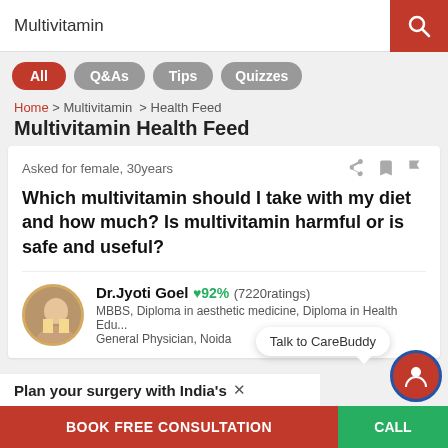Multivitamin
All | Q&As | Tips | Quizzes
Home > Multivitamin > Health Feed
Multivitamin Health Feed
Asked for female, 30years
Which multivitamin should I take with my diet and how much? Is multivitamin harmful or is safe and useful?
Dr.Jyoti Goel ♥92% (7220ratings)
MBBS, Diploma in aesthetic medicine, Diploma in Health Edu...
General Physician, Noida
Plan your surgery with India's
Talk to CareBuddy
BOOK FREE CONSULTATION
CALL